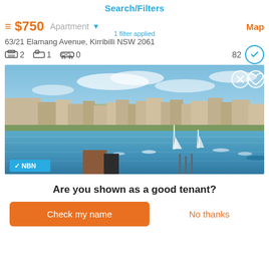Search/Filters
≡ $750  Apartment ▾  Map
1 filter applied
63/21 Elamang Avenue, Kirribilli NSW 2061
🛏 2  🛁 1  🚗 0  82
[Figure (photo): Harbour view photo of Kirribilli NSW with sailboats on water, residential buildings on waterfront, blue sky. NBN badge visible bottom left. Dismiss and favourite icons top right.]
Are you shown as a good tenant?
Check my name
No thanks